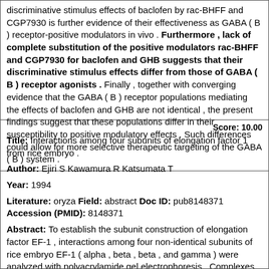discriminative stimulus effects of baclofen by rac-BHFF and CGP7930 is further evidence of their effectiveness as GABA ( B ) receptor-positive modulators in vivo . Furthermore , lack of complete substitution of the positive modulators rac-BHFF and CGP7930 for baclofen and GHB suggests that their discriminative stimulus effects differ from those of GABA ( B ) receptor agonists . Finally , together with converging evidence that the GABA ( B ) receptor populations mediating the effects of baclofen and GHB are not identical , the present findings suggest that these populations differ in their susceptibility to positive modulatory effects . Such differences could allow for more selective therapeutic targeting of the GABA ( B ) system .
Score: 10.00
Title: Interactions among four subunits of elongation factor 1 from rice embryo .
Author: Ejiri S Kawamura R Katsumata T
Year: 1994
Literature: oryza Field: abstract Doc ID: pub8148371 Accession (PMID): 8148371
Abstract: To establish the subunit construction of elongation factor EF-1 , interactions among four non-identical subunits of rice embryo EF-1 ( alpha , beta , beta , and gamma ) were analyzed with polyacrylamide gel electrophoresis . Complexes beta beta , alpha beta , alpha beta , and beta gamma were formed by mixing the two respective subunits . However , no complex was formed between EF-1 beta and EF-1 gamma . Complexes containing three subunits like alpha beta beta , alpha beta gamma , and beta beta gamma , were formed by mixing the three respective subunits . EF-1 was reconstructed when each subunit was added in the following order , beta , beta , gamma , and alpha . The